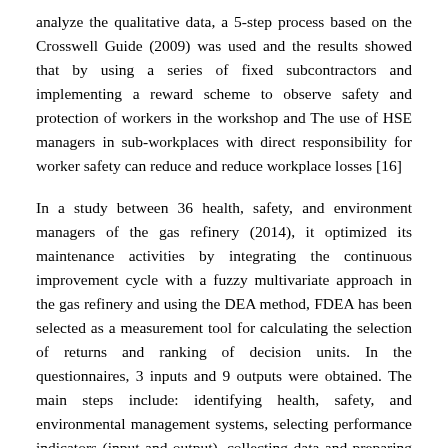analyze the qualitative data, a 5-step process based on the Crosswell Guide (2009) was used and the results showed that by using a series of fixed subcontractors and implementing a reward scheme to observe safety and protection of workers in the workshop and The use of HSE managers in sub-workplaces with direct responsibility for worker safety can reduce and reduce workplace losses [16]
In a study between 36 health, safety, and environment managers of the gas refinery (2014), it optimized its maintenance activities by integrating the continuous improvement cycle with a fuzzy multivariate approach in the gas refinery and using the DEA method, FDEA has been selected as a measurement tool for calculating the selection of returns and ranking of decision units. In the questionnaires, 3 inputs and 9 outputs were obtained. The main steps include: identifying health, safety, and environmental management systems, selecting performance indicators (input and output), collecting data and preparing them, selecting the appropriate cover analysis model (DEA), solving the DEA model, and solving the model FDEA has finally improved the HSE management program in a gas refinery using fuzzy approach data [17].